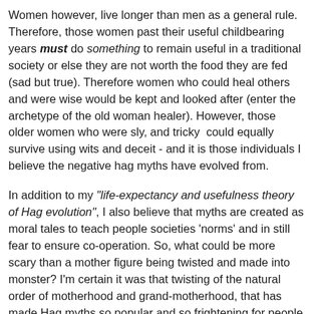Women however, live longer than men as a general rule. Therefore, those women past their useful childbearing years must do something to remain useful in a traditional society or else they are not worth the food they are fed (sad but true). Therefore women who could heal others and were wise would be kept and looked after (enter the archetype of the old woman healer). However, those older women who were sly, and tricky could equally survive using wits and deceit - and it is those individuals I believe the negative hag myths have evolved from.
In addition to my "life-expectancy and usefulness theory of Hag evolution", I also believe that myths are created as moral tales to teach people societies 'norms' and in still fear to ensure co-operation. So, what could be more scary than a mother figure being twisted and made into monster? I'm certain it was that twisting of the natural order of motherhood and grand-motherhood, that has made Hag myths so popular and so frightening for people in times past.
If you're wondering is there a male equivalent to the Hag